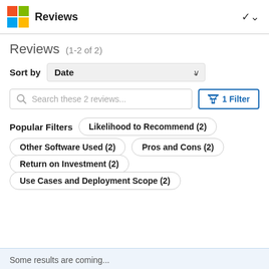Reviews
Reviews (1-2 of 2)
Sort by Date
Search these 2 reviews... | 1 Filter
Popular Filters
Likelihood to Recommend (2)
Other Software Used (2)
Pros and Cons (2)
Return on Investment (2)
Use Cases and Deployment Scope (2)